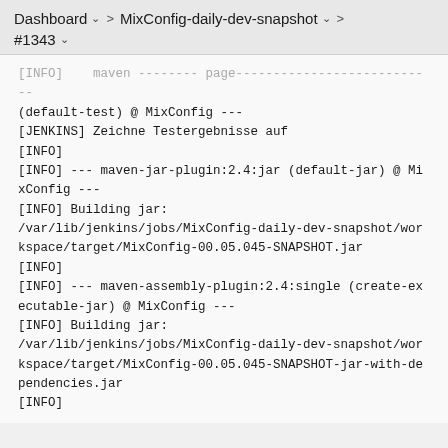Dashboard > MixConfig-daily-dev-snapshot > #1343
[INFO] maven ??? page ??? 
(default-test) @ MixConfig ---
[JENKINS] Zeichne Testergebnisse auf
[INFO]
[INFO] --- maven-jar-plugin:2.4:jar (default-jar) @ MixConfig ---
[INFO] Building jar:
/var/lib/jenkins/jobs/MixConfig-daily-dev-snapshot/workspace/target/MixConfig-00.05.045-SNAPSHOT.jar
[INFO]
[INFO] --- maven-assembly-plugin:2.4:single (create-executable-jar) @ MixConfig ---
[INFO] Building jar:
/var/lib/jenkins/jobs/MixConfig-daily-dev-snapshot/workspace/target/MixConfig-00.05.045-SNAPSHOT-jar-with-dependencies.jar
[INFO]